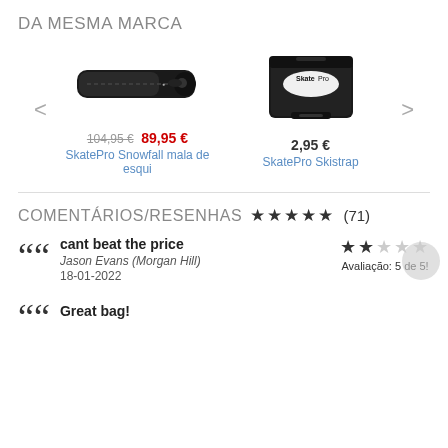DA MESMA MARCA
[Figure (photo): Product image of SkatePro Snowfall ski bag, black elongated shape]
104,95 € 89,95 €
SkatePro Snowfall mala de esqui
[Figure (photo): Product image of SkatePro Skistrap, black strap with SkatePro logo]
2,95 €
SkatePro Skistrap
COMENTÁRIOS/RESENHAS ★★★★★ (71)
cant beat the price
Jason Evans (Morgan Hill)
18-01-2022
Avaliação: 5 de 5!
Great bag!